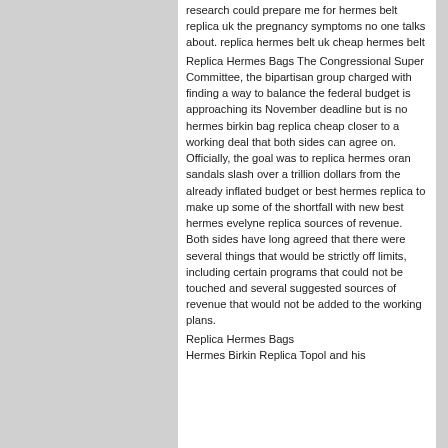research could prepare me for hermes belt replica uk the pregnancy symptoms no one talks about. replica hermes belt uk cheap hermes belt
Replica Hermes Bags The Congressional Super Committee, the bipartisan group charged with finding a way to balance the federal budget is approaching its November deadline but is no hermes birkin bag replica cheap closer to a working deal that both sides can agree on. Officially, the goal was to replica hermes oran sandals slash over a trillion dollars from the already inflated budget or best hermes replica to make up some of the shortfall with new best hermes evelyne replica sources of revenue. Both sides have long agreed that there were several things that would be strictly off limits, including certain programs that could not be touched and several suggested sources of revenue that would not be added to the working plans.
Replica Hermes Bags
Hermes Birkin Replica Topol and his